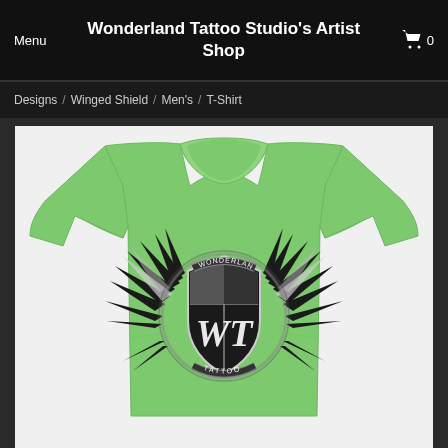Menu  Wonderland Tattoo Studio's Artist Shop  🛒 0
Designs / Winged Shield / Men's / T-Shirt
[Figure (photo): A green short-sleeve t-shirt with a Wonderland Tattoo Studio winged shield logo printed on the chest. The logo features a black and white shield with gothic lettering, surrounded by black spread wings, and the text WONDERLAND TATTOO in a banner.]